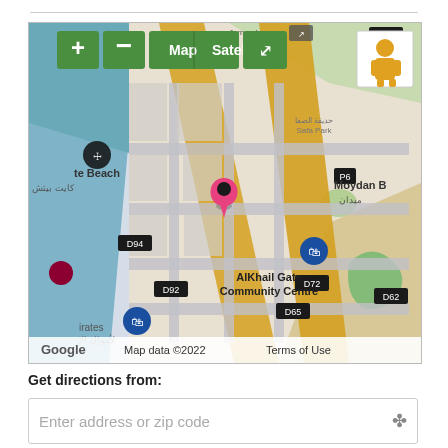[Figure (map): Google Maps screenshot showing AlKhail Gate Community Centre area in Dubai, with a pink location marker, green map controls (zoom in/out, Map/Satellite toggle, fullscreen), an orange pedestrian icon, blue shopping location pins, road labels (D94, D92, D72, D65, D62), neighborhood labels (te Beach, Moydan B), and Google branding with Map data ©2022 Terms of Use.]
Get directions from:
Enter address or zip code